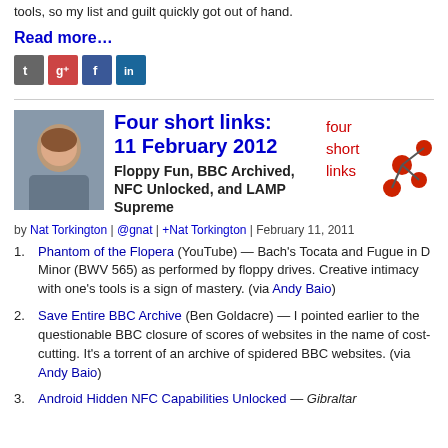tools, so my list and guilt quickly got out of hand.
Read more…
[Figure (other): Social media sharing icons: Twitter, Google+, Facebook, LinkedIn]
[Figure (photo): Author headshot photo of Nat Torkington]
Four short links: 11 February 2012
Floppy Fun, BBC Archived, NFC Unlocked, and LAMP Supreme
[Figure (logo): Four short links logo — red nodes connected by lines with text 'four short links']
by Nat Torkington | @gnat | +Nat Torkington | February 11, 2011
Phantom of the Flopera (YouTube) — Bach's Tocata and Fugue in D Minor (BWV 565) as performed by floppy drives. Creative intimacy with one's tools is a sign of mastery. (via Andy Baio)
Save Entire BBC Archive (Ben Goldacre) — I pointed earlier to the questionable BBC closure of scores of websites in the name of cost-cutting. It's a torrent of an archive of spidered BBC websites. (via Andy Baio)
Android Hidden NFC Capabilities Unlocked — Gibraltar